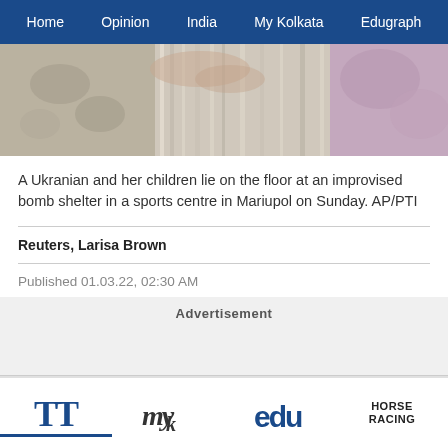Home | Opinion | India | My Kolkata | Edugraph
[Figure (photo): Photo of a Ukrainian woman and children lying on the floor at an improvised bomb shelter in a sports centre in Mariupol]
A Ukranian and her children lie on the floor at an improvised bomb shelter in a sports centre in Mariupol on Sunday. AP/PTI
Reuters, Larisa Brown
Published 01.03.22, 02:30 AM
Advertisement
TT  my kolkata  edu  HORSE RACING